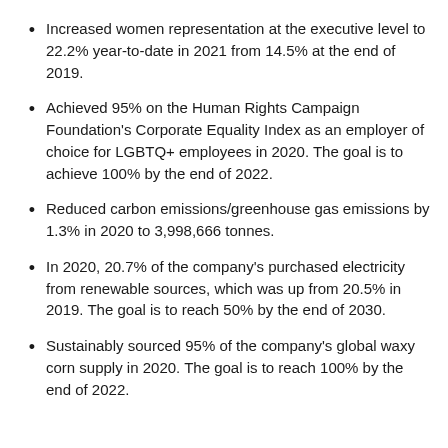Increased women representation at the executive level to 22.2% year-to-date in 2021 from 14.5% at the end of 2019.
Achieved 95% on the Human Rights Campaign Foundation's Corporate Equality Index as an employer of choice for LGBTQ+ employees in 2020. The goal is to achieve 100% by the end of 2022.
Reduced carbon emissions/greenhouse gas emissions by 1.3% in 2020 to 3,998,666 tonnes.
In 2020, 20.7% of the company's purchased electricity from renewable sources, which was up from 20.5% in 2019. The goal is to reach 50% by the end of 2030.
Sustainably sourced 95% of the company's global waxy corn supply in 2020. The goal is to reach 100% by the end of 2022.